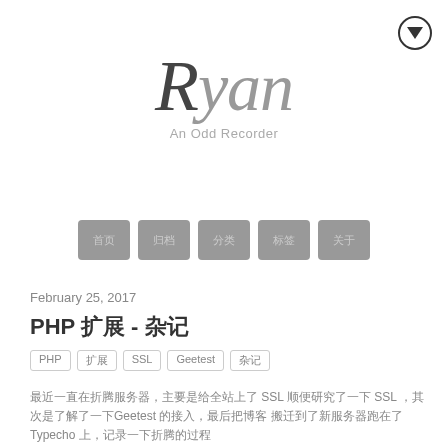[Figure (logo): Circle with down-pointing triangle/arrow icon in top right corner]
Ryan
An Odd Recorder
[Figure (infographic): Five gray rounded square navigation buttons with Chinese characters]
February 25, 2017
PHP 扩展 - 杂记
PHP  SSL  SSL  Geetest   Typecho
PHP  SSL  Geetest